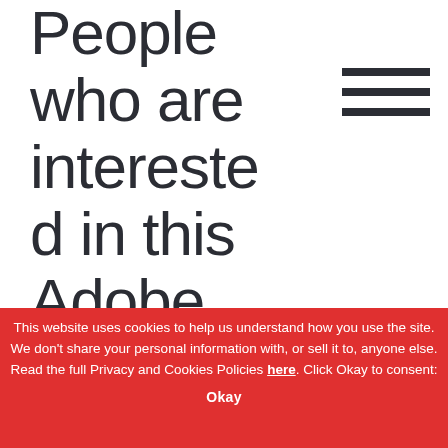People who are interested in this Adobe InDesign
[Figure (other): Hamburger menu icon — three horizontal dark lines stacked vertically on the right side of the page]
This website uses cookies to help us understand how you use the site. We don't share your personal information with, or sell it to, anyone else. Read the full Privacy and Cookies Policies here. Click Okay to consent:
Okay